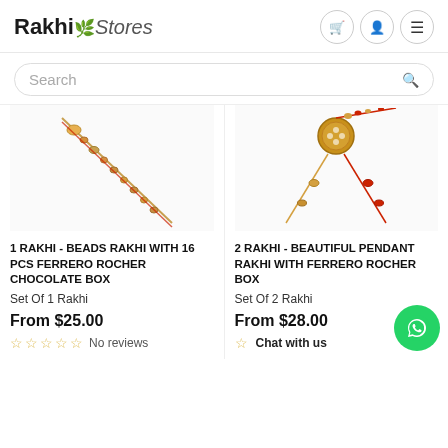Rakhi Stores
[Figure (screenshot): E-commerce website header with Rakhi Stores logo and navigation icons (cart, user, menu)]
[Figure (photo): Search bar with placeholder text 'Search' and magnifying glass icon]
[Figure (photo): Left product: Rakhi bracelet with orange beads on white background]
1 RAKHI - BEADS RAKHI WITH 16 PCS FERRERO ROCHER CHOCOLATE BOX
Set Of 1 Rakhi
From $25.00
No reviews
[Figure (photo): Right product: Beautiful pendant rakhi with decorative gold/red beads on white background]
2 RAKHI - BEAUTIFUL PENDANT RAKHI WITH FERRERO ROCHER BOX
Set Of 2 Rakhi
From $28.00
Chat with us